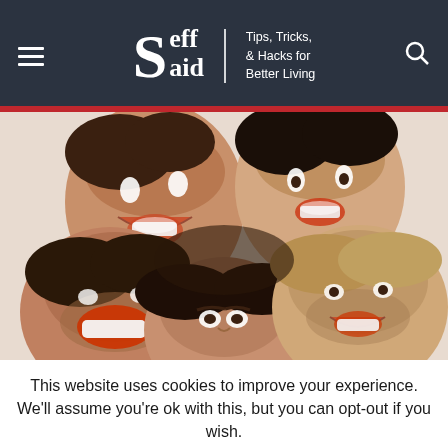Seff Said | Tips, Tricks, & Hacks for Better Living
[Figure (photo): Five young adults smiling and laughing with their heads together in a circle, viewed from below against a white background.]
This website uses cookies to improve your experience. We'll assume you're ok with this, but you can opt-out if you wish.
Settings | Accept